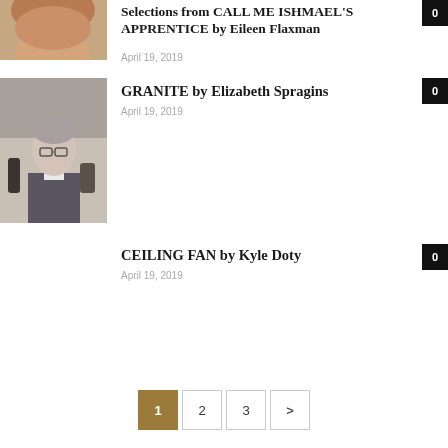[Figure (photo): Partial photo of a woman's face, cropped at top]
Selections from CALL ME ISHMAEL'S APPRENTICE by Eileen Flaxman
April 19, 2019
[Figure (photo): Portrait photo of an older woman with glasses and gray hair]
GRANITE by Elizabeth Spragins
April 19, 2019
CEILING FAN by Kyle Doty
April 19, 2019